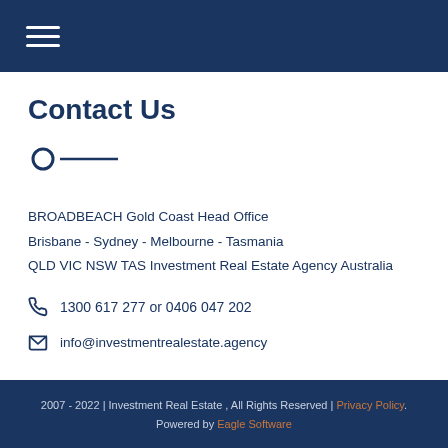≡ (hamburger menu icon)
Contact Us
[Figure (other): Decorative divider with circle icon and horizontal line]
BROADBEACH Gold Coast Head Office
Brisbane - Sydney - Melbourne - Tasmania
QLD VIC NSW TAS Investment Real Estate Agency Australia
1300 617 277 or 0406 047 202
info@investmentrealestate.agency
2007 - 2022 | Investment Real Estate , All Rights Reserved | Privacy Policy. Powered by Eagle Software